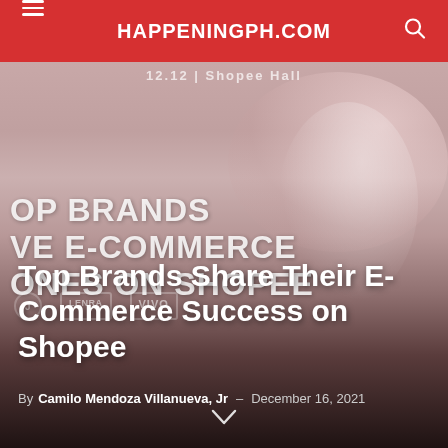HAPPENINGPH.COM
[Figure (photo): Hero image for article about top brands sharing e-commerce success on Shopee. Background shows a pinkish-red promotional banner with text 'TOP BRANDS', 'E-COMMERCE', 'ONES ON SHOPEE', brand logos including VIVO, and a person raising a fist. Bottom portion fades to dark.]
Top Brands Share Their E-Commerce Success on Shopee
By Camilo Mendoza Villanueva, Jr – December 16, 2021